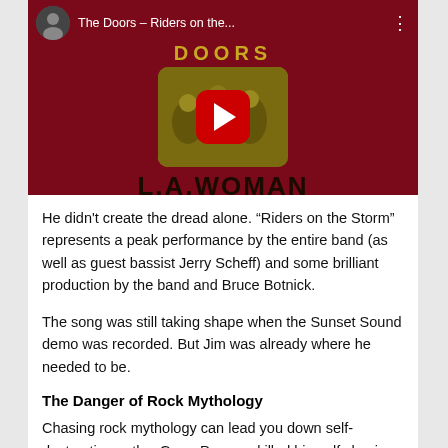[Figure (screenshot): YouTube video thumbnail for The Doors – Riders on the Storm, showing the L.A. Woman album art with a red play button overlay, on a dark red background with 'DOORS' logo text and 'L.A.WOMAN' title.]
He didn't create the dread alone. “Riders on the Storm” represents a peak performance by the entire band (as well as guest bassist Jerry Scheff) and some brilliant production by the band and Bruce Botnick.
The song was still taking shape when the Sunset Sound demo was recorded. But Jim was already where he needed to be.
The Danger of Rock Mythology
Chasing rock mythology can lead you down self-destructive paths. Gram Parsons killed himself chasing